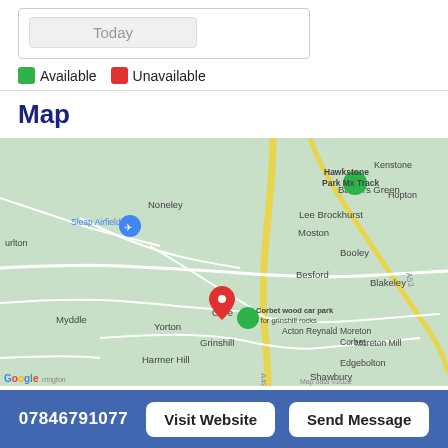[Figure (other): A 'Today' button UI element inside a bordered calendar box]
Available   Unavailable
Map
[Figure (map): Google Map showing Grinshill area in Shropshire, UK. Locations visible: Noneley, Barkers Green, Hawkstone Park Mx Track, Kenstone, Sleap Airfield, Lee Brockhurst, Hopton, Moston, Booley, Besford, Blakeley, Clive, Yorton, Grinshill, Acton Reynald, Moreton Corbet, Moreton Mill, Edgebolton, Myddle, Harmer Hill, Shawbury. Red pin and green Corbet wood car park - for grinshill rocks marker shown. Google logo and map data ©2022 visible.]
07846791077   Visit Website   Send Message